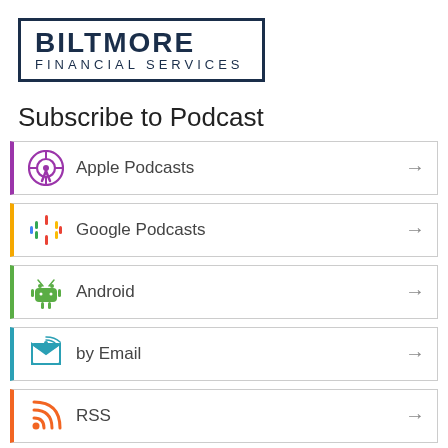[Figure (logo): Biltmore Financial Services logo — bold text in a rectangular border]
Subscribe to Podcast
Apple Podcasts
Google Podcasts
Android
by Email
RSS